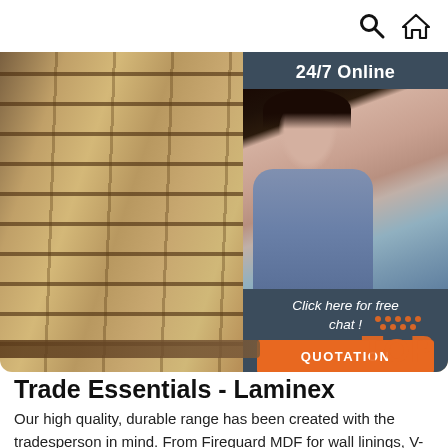🔍 🏠
[Figure (photo): Stack of plywood/MDF boards in a warehouse, viewed at an angle showing the layers. A customer service representative (woman with headset) is overlaid on the right side with a '24/7 Online' banner and 'Click here for free chat!' call to action and an orange QUOTATION button.]
Trade Essentials - Laminex
Our high quality, durable range has been created with the tradesperson in mind. From Fireguard MDF for wall linings, V-Lite PVC panels for outdoor kitchen carcasses or Plywood for a brand new cubby house, our products are strong, stable and reliable.